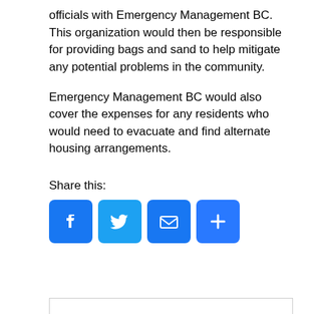officials with Emergency Management BC. This organization would then be responsible for providing bags and sand to help mitigate any potential problems in the community.
Emergency Management BC would also cover the expenses for any residents who would need to evacuate and find alternate housing arrangements.
Share this:
[Figure (infographic): Social share buttons: Facebook (blue F icon), Twitter (blue bird icon), Email (blue envelope icon), More/Share (blue plus icon)]